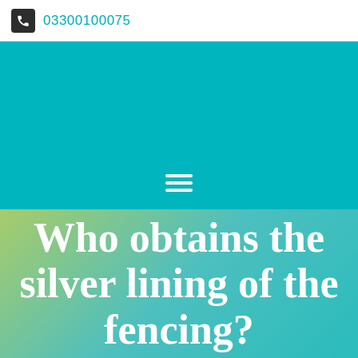03300100075
[Figure (other): Teal navigation bar with hamburger menu icon (three horizontal white lines)]
Who obtains the silver lining of the fencing?